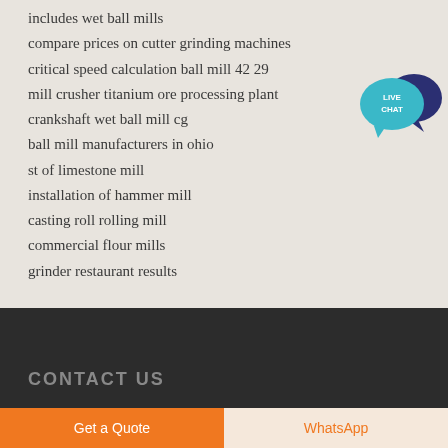includes wet ball mills
compare prices on cutter grinding machines
critical speed calculation ball mill 42 29
mill crusher titanium ore processing plant
crankshaft wet ball mill cg
ball mill manufacturers in ohio
st of limestone mill
installation of hammer mill
casting roll rolling mill
commercial flour mills
grinder restaurant results
[Figure (illustration): Live chat bubble icon with teal/blue speech bubble and dark navy chat bubble, text LIVE CHAT in white]
CONTACT US
Get a Quote
WhatsApp